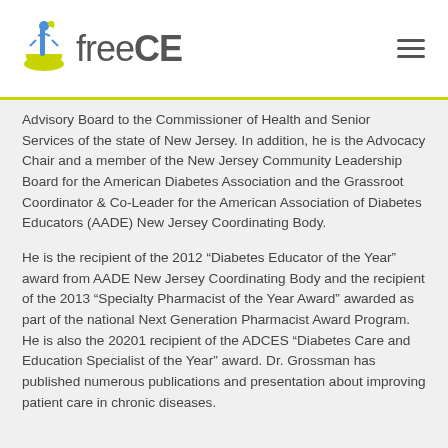freeCE
Advisory Board to the Commissioner of Health and Senior Services of the state of New Jersey. In addition, he is the Advocacy Chair and a member of the New Jersey Community Leadership Board for the American Diabetes Association and the Grassroot Coordinator & Co-Leader for the American Association of Diabetes Educators (AADE) New Jersey Coordinating Body.

He is the recipient of the 2012 “Diabetes Educator of the Year” award from AADE New Jersey Coordinating Body and the recipient of the 2013 “Specialty Pharmacist of the Year Award” awarded as part of the national Next Generation Pharmacist Award Program. He is also the 20201 recipient of the ADCES “Diabetes Care and Education Specialist of the Year” award. Dr. Grossman has published numerous publications and presentation about improving patient care in chronic diseases.